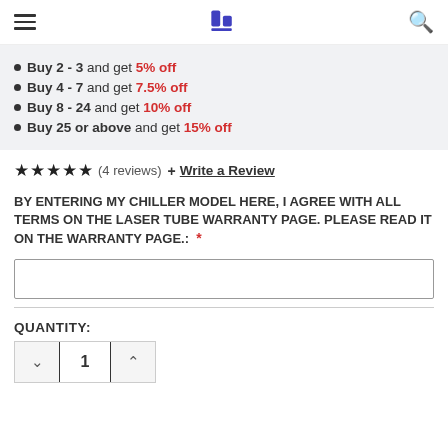Navigation bar with hamburger menu, logo, and search icon
Buy 2 - 3 and get 5% off
Buy 4 - 7 and get 7.5% off
Buy 8 - 24 and get 10% off
Buy 25 or above and get 15% off
★★★★★ (4 reviews) + Write a Review
BY ENTERING MY CHILLER MODEL HERE, I AGREE WITH ALL TERMS ON THE LASER TUBE WARRANTY PAGE. PLEASE READ IT ON THE WARRANTY PAGE.: *
QUANTITY:
1